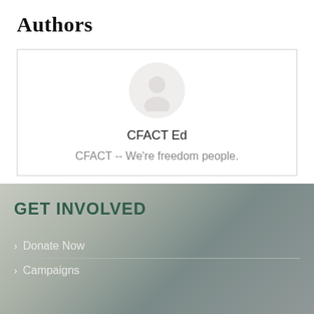Authors
CFACT Ed
CFACT -- We're freedom people.
GET INVOLVED
Donate Now
Campaigns